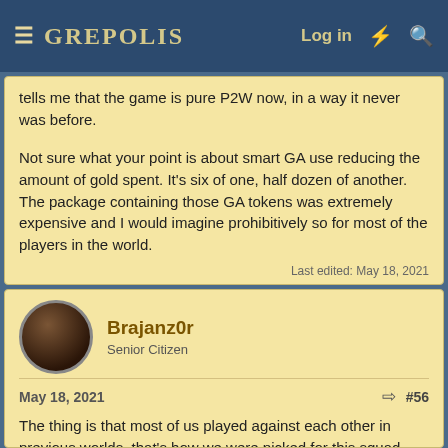GREPOLIS — Log in
tells me that the game is pure P2W now, in a way it never was before.

Not sure what your point is about smart GA use reducing the amount of gold spent. It's six of one, half dozen of another. The package containing those GA tokens was extremely expensive and I would imagine prohibitively so for most of the players in the world.
Last edited: May 18, 2021
Brajanz0r
Senior Citizen
May 18, 2021  #56
The thing is that most of us played against each other in previous worlds, that's how we were picked for this squad through years. I still have more worlds where I played against Mr. Superior, and I was determined to stop their